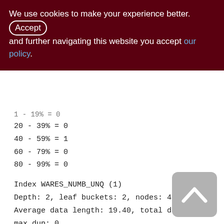We use cookies to make your experience better. By accepting and further navigating this website you accept our policy.
20 - 39% = 0
40 - 59% = 1
60 - 79% = 0
80 - 99% = 0
Index WARES_NUMB_UNQ (1)
Depth: 2, leaf buckets: 2, nodes: 400
Average data length: 19.40, total dup: 0,
max dup: 0
Fill distribution:
0 - 19% = 0
20 - 39% = 0